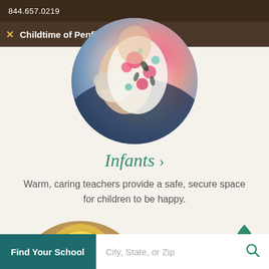844.657.0219
Childtime of Penfield, NY
[Figure (photo): Circular cropped photo of a baby/infant in a floral dress holding a plush toy, with an adult in navy blue visible behind]
Infants >
Warm, caring teachers provide a safe, secure space for children to be happy.
[Figure (photo): Circular cropped photo of a young blonde toddler looking at the camera, taken indoors in a classroom setting]
TOP
Find Your School  City, State, or Zip